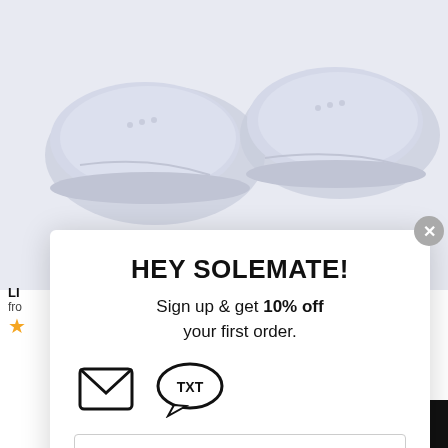[Figure (photo): Product photo of light gray/blue sneakers on white background, top portion visible]
LI
fro
★
HEY SOLEMATE!
Sign up & get 10% off your first order.
[Figure (illustration): Email envelope icon and TXT speech bubble icon side by side]
Email
SIGN UP
By signing up for emails you agree to our Privacy Policy and Terms & Conditions.